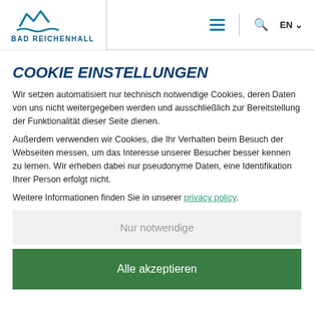Bad Reichenhall — navigation header with logo, hamburger menu, search icon, and EN language selector
COOKIE EINSTELLUNGEN
Wir setzen automatisiert nur technisch notwendige Cookies, deren Daten von uns nicht weitergegeben werden und ausschließlich zur Bereitstellung der Funktionalität dieser Seite dienen.
Außerdem verwenden wir Cookies, die Ihr Verhalten beim Besuch der Webseiten messen, um das Interesse unserer Besucher besser kennen zu lernen. Wir erheben dabei nur pseudonyme Daten, eine Identifikation Ihrer Person erfolgt nicht.
Weitere Informationen finden Sie in unserer privacy policy.
Nur notwendige
Alle akzeptieren